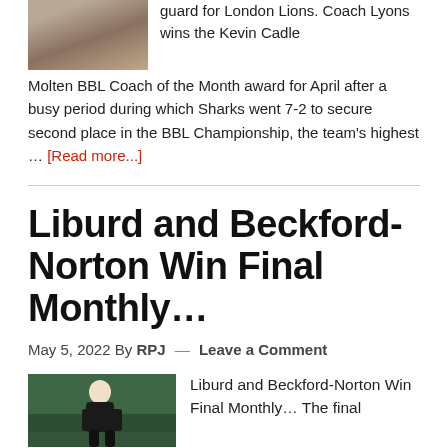[Figure (photo): Cropped photo of a basketball coach or player, partially visible at top left]
guard for London Lions. Coach Lyons wins the Kevin Cadle Molten BBL Coach of the Month award for April after a busy period during which Sharks went 7-2 to secure second place in the BBL Championship, the team's highest … [Read more...]
Liburd and Beckford-Norton Win Final Monthly…
May 5, 2022 By RPJ — Leave a Comment
[Figure (photo): Photo of a female basketball player in dark uniform on a court with green background]
Liburd and Beckford-Norton Win Final Monthly… The final